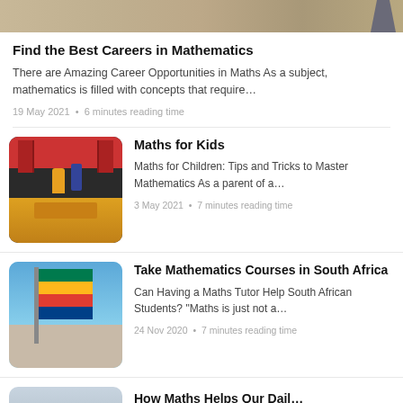[Figure (photo): Cropped top portion of an article image, partially visible at the top of the page]
Find the Best Careers in Mathematics
There are Amazing Career Opportunities in Maths As a subject, mathematics is filled with concepts that require…
19 May 2021  •  6 minutes reading time
[Figure (photo): Playmobil toy figures in a classroom setting with red doors and yellow furniture]
Maths for Kids
Maths for Children: Tips and Tricks to Master Mathematics As a parent of a…
3 May 2021  •  7 minutes reading time
[Figure (photo): South African flag waving against a blue sky with a building below]
Take Mathematics Courses in South Africa
Can Having a Maths Tutor Help South African Students? "Maths is just not a…
24 Nov 2020  •  7 minutes reading time
[Figure (photo): Partially visible thumbnail image at the bottom of the page]
How Maths Helps Our Dail…